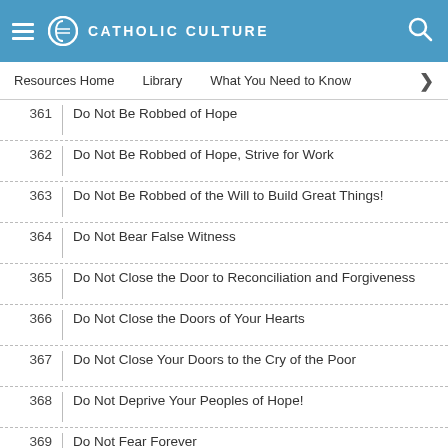CATHOLIC CULTURE
Resources Home   Library   What You Need to Know
361  Do Not Be Robbed of Hope
362  Do Not Be Robbed of Hope, Strive for Work
363  Do Not Be Robbed of the Will to Build Great Things!
364  Do Not Bear False Witness
365  Do Not Close the Door to Reconciliation and Forgiveness
366  Do Not Close the Doors of Your Hearts
367  Do Not Close Your Doors to the Cry of the Poor
368  Do Not Deprive Your Peoples of Hope!
369  Do Not Fear Forever
370  Do Not Fear Holiness nor Spending Your Life for Your People
371  Do Not Fear the Church! Her One Ambition Is to Continue Christ's Mission of Service and Love
372  Do Not Get Used to Behavior that Anesthetizes the Heart
373  Do Not Give In to Temptation to Instrumentalize God